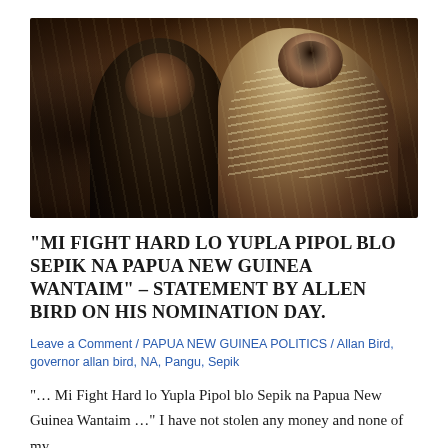[Figure (photo): Two men photographed together. The man on the left wears a dark suit and bow tie. The man on the right wears traditional Papua New Guinean ceremonial dress including shell necklaces, headdress, and face paint.]
“MI FIGHT HARD LO YUPLA PIPOL BLO SEPIK NA PAPUA NEW GUINEA WANTAIM” – STATEMENT BY ALLEN BIRD ON HIS NOMINATION DAY.
Leave a Comment / PAPUA NEW GUINEA POLITICS / Allan Bird, governor allan bird, NA, Pangu, Sepik
“… Mi Fight Hard lo Yupla Pipol blo Sepik na Papua New Guinea Wantaim …” I have not stolen any money and none of my…